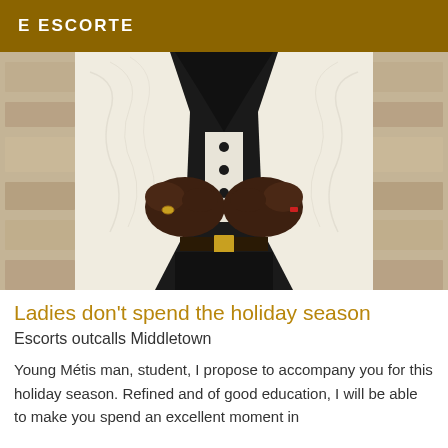E ESCORTE
[Figure (photo): Close-up photo of a man wearing a white patterned tuxedo jacket with black lapels and black buttons, hands clasped at chest level, against a stone wall background]
Ladies don't spend the holiday season
Escorts outcalls Middletown
Young Métis man, student, I propose to accompany you for this holiday season. Refined and of good education, I will be able to make you spend an excellent moment in